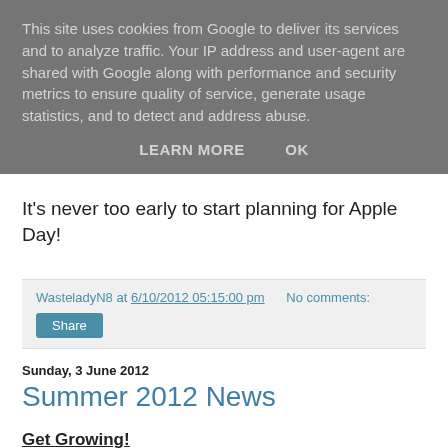This site uses cookies from Google to deliver its services and to analyze traffic. Your IP address and user-agent are shared with Google along with performance and security metrics to ensure quality of service, generate usage statistics, and to detect and address abuse.
LEARN MORE   OK
It's never too early to start planning for Apple Day!
WasteladyN8 at 6/10/2012 05:15:00 pm   No comments:
Share
Sunday, 3 June 2012
Summer 2012 News
Get Growing!